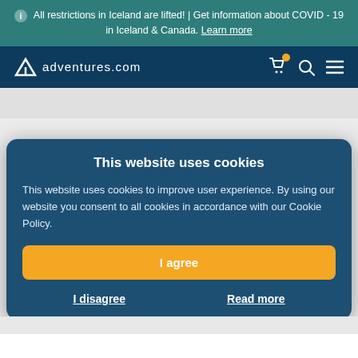ℹ All restrictions in Iceland are lifted! | Get information about COVID - 19 in Iceland & Canada. Learn more
[Figure (logo): Adventures.com logo with navigation icons (cart, search, menu) on dark blue nav bar]
GUIDED DAY TOURS AROUND HUSAFELL
This website uses cookies

This website uses cookies to improve user experience. By using our website you consent to all cookies in accordance with our Cookie Policy.

I agree

I disagree    Read more